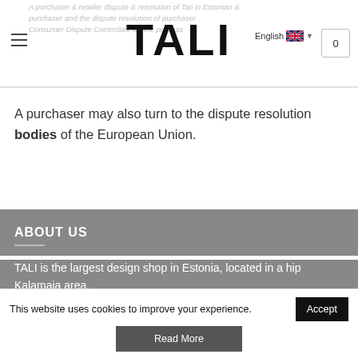TALI
A purchaser may also turn to the dispute resolution bodies of the European Union.
ABOUT US
TALI is the largest design shop in Estonia, located in a hip Kalamaja area.
This website uses cookies to improve your experience.